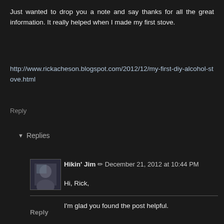Just wanted to drop you a note and say thanks for all the great information. It really helped when I made my first stove.
http://www.rickacheson.blogspot.com/2012/12/my-first-diy-alcohol-stove.html
Reply
▼ Replies
[Figure (photo): Small avatar photo of Hikin' Jim]
Hikin' Jim ✏ December 21, 2012 at 10:44 PM
Hi, Rick,

I'm glad you found the post helpful.

Take care,

HJ
Reply